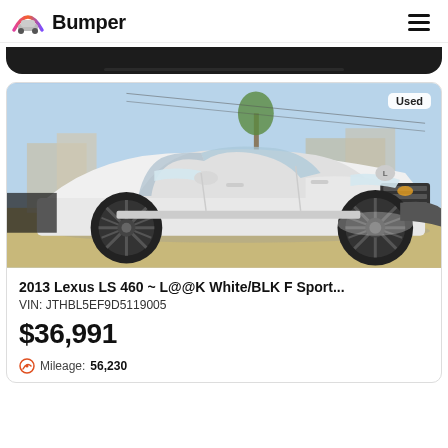Bumper
[Figure (photo): White 2013 Lexus LS 460 F Sport sedan parked outdoors, front three-quarter view. 'Used' badge visible in top right corner of photo.]
2013 Lexus LS 460 ~ L@@K White/BLK F Sport...
VIN: JTHBL5EF9D5119005
$36,991
Mileage: 56,230